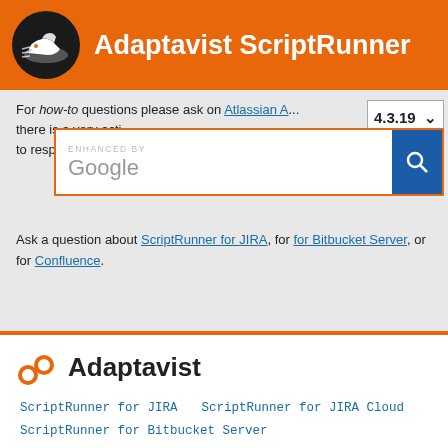Adaptavist ScriptRunner
For how-to questions please ask on Atlassian A... there is a very acti... to respond there.
Ask a question about ScriptRunner for JIRA, for for Bitbucket Server, or for Confluence.
[Figure (logo): Adaptavist logo with orange swirl and company name]
ScriptRunner for JIRA
ScriptRunner for JIRA Cloud
ScriptRunner for Bitbucket Server
ScriptRunner for Confluence
© 2017 Adaptavist.com Ltd and Adaptavist Inc